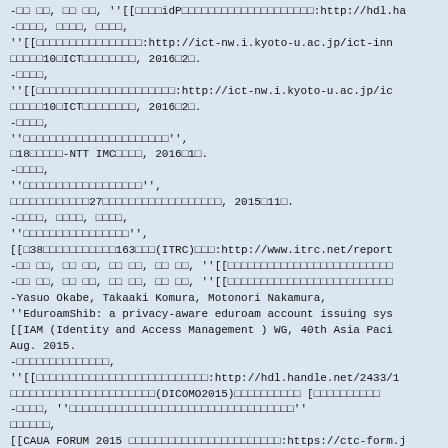-□□ □□, □□ □□, ''[[□□□□idP□□□□□□□□□□□□□□□□□□□□:http://hdl.ha
-□□□□, □□□□, □□□□,
''[[□□□□□□□□□□□□□□□□:http://ict-nw.i.kyoto-u.ac.jp/ict-inn
□□□□□10□ICT□□□□□□□□, 2016□2□.
-□□□□,
''[[□□□□□□□□□□□□□□□□□□□□□:http://ict-nw.i.kyoto-u.ac.jp/ic
□□□□□10□ICT□□□□□□□□, 2016□2□.
-□□□□,
''□□□□□□□□□□□□□□□□□□□□□□'',
□18□□□□□-NTT IMC□□□□, 2016□1□.
-□□□□,
''□□□□□□□□□□□□□□□□□□'',
□□□□□□□□□□□□27□□□□□□□□□□□□□□□□□□, 2015□11□.
-□□□□, □□□□, □□□□,
''□□□□□□□□□□□□□□□□'',
[[□38□□□□□□□□□□□163□□□(ITRC)□□□:http://www.itrc.net/report
-□□ □□, □□ □□, □□ □□, □□ □□, ''[[□□□□□□□□□□□□□□□□□□□□□□□□□
-□□ □□, □□ □□, □□ □□, □□ □□, ''[[□□□□□□□□□□□□□□□□□□□□□□□□□
-Yasuo Okabe, Takaaki Komura, Motonori Nakamura,
''EduroamShib: a privacy-aware eduroam account issuing sys
[[IAM (Identity and Access Management ) WG, 40th Asia Paci
Aug. 2015.
-□□□□□□□□□□□□□□,
''[[□□□□□□□□□□□□□□□□□□□□□□□□□□:http://hdl.handle.net/2433/1
□□□□□□□□□□□□□□□□□□□□□□(DICOMO2015)□□□□□□□□□□ [□□□□□□□□□□
-□□□□, ''□□□□□□□□□□□□□□□□□□□□□□□□□□□□□□□□□□''
□□□□□□,
[[CAUA FORUM 2015 □□□□□□□□□□□□□□□□□□□□□□□:https://ctc-form.j
-□□□□,
''□□□□□□□□□□□□□□□□□□□□'',